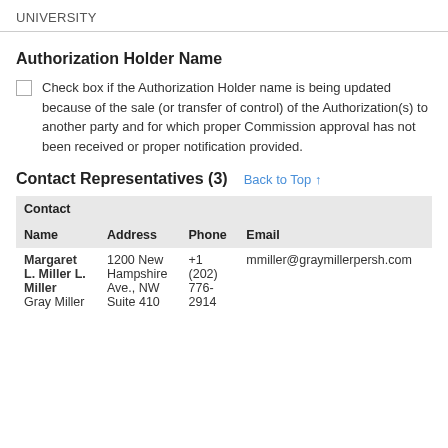UNIVERSITY
Authorization Holder Name
Check box if the Authorization Holder name is being updated because of the sale (or transfer of control) of the Authorization(s) to another party and for which proper Commission approval has not been received or proper notification provided.
Contact Representatives (3)
| Contact Name | Address | Phone | Email |
| --- | --- | --- | --- |
| Margaret L. Miller L. Miller
Gray Miller | 1200 New Hampshire Ave., NW
Suite 410 | +1 (202) 776-2914 | mmiller@graymillerpersh.com |